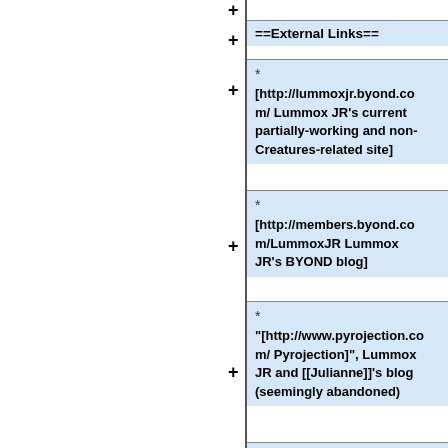==External Links==
[http://lummoxjr.byond.com/ Lummox JR's current partially-working and non-Creatures-related site]
[http://members.byond.com/LummoxJR Lummox JR's BYOND blog]
"[http://www.pyrojection.com/ Pyrojection]", Lummox JR and [[Julianne]]'s blog (seemingly abandoned)
"[http://members.aol.com/L